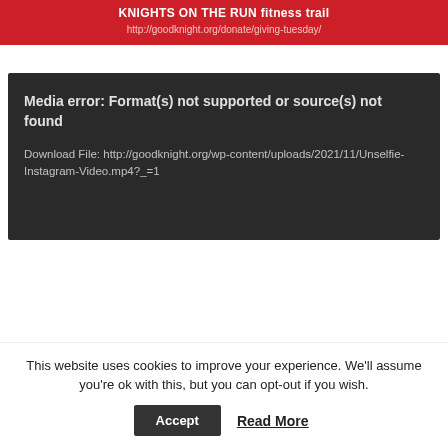KNIGHTS ON THE RUN fitness trail
http://goodknight.org/donate/giving-tuesday/
Media error: Format(s) not supported or source(s) not found
Download File: http://goodknight.org/wp-content/uploads/2021/11/Unselfie-Instagram-Video.mp4?_=1
This website uses cookies to improve your experience. We'll assume you're ok with this, but you can opt-out if you wish.
Accept
Read More